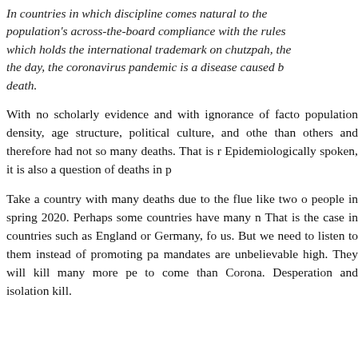In countries in which discipline comes natural to the population's across-the-board compliance with the rules which holds the international trademark on chutzpah, the day, the coronavirus pandemic is a disease caused b death.
With no scholarly evidence and with ignorance of facto population density, age structure, political culture, and othe than others and therefore had not so many deaths. That is r Epidemiologically spoken, it is also a question of deaths in p
Take a country with many deaths due to the flue like two o people in spring 2020. Perhaps some countries have many n That is the case in countries such as England or Germany, fo us. But we need to listen to them instead of promoting pa mandates are unbelievable high. They will kill many more pe to come than Corona. Desperation and isolation kill.